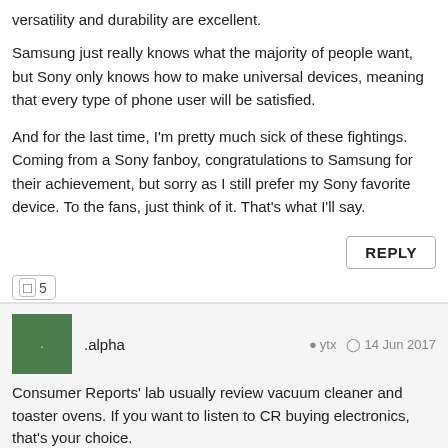versatility and durability are excellent.
Samsung just really knows what the majority of people want, but Sony only knows how to make universal devices, meaning that every type of phone user will be satisfied.
And for the last time, I'm pretty much sick of these fightings. Coming from a Sony fanboy, congratulations to Samsung for their achievement, but sorry as I still prefer my Sony favorite device. To the fans, just think of it. That's what I'll say.
REPLY
□5
.alpha   ytx   14 Jun 2017
Consumer Reports' lab usually review vacuum cleaner and toaster ovens. If you want to listen to CR buying electronics, that's your choice.